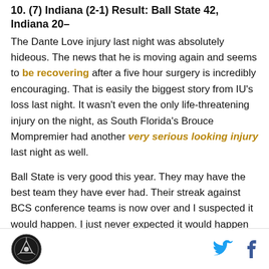10. (7) Indiana (2-1) Result: Ball State 42, Indiana 20–
The Dante Love injury last night was absolutely hideous. The news that he is moving again and seems to be recovering after a five hour surgery is incredibly encouraging. That is easily the biggest story from IU's loss last night. It wasn't even the only life-threatening injury on the night, as South Florida's Brouce Mompremier had another very serious looking injury last night as well.

Ball State is very good this year. They may have the best team they have ever had. Their streak against BCS conference teams is now over and I suspected it would happen. I just never expected it would happen in such dominating fashion. The Cardinals completely